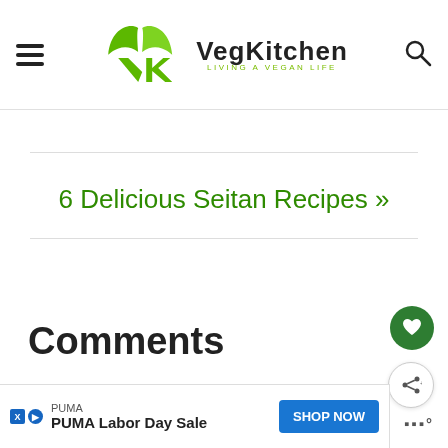[Figure (logo): VegKitchen logo with green leaf V and K, tagline 'LIVING A VEGAN LIFE']
6 Delicious Seitan Recipes »
Comments
[Figure (other): PUMA Labor Day Sale advertisement banner with Shop Now button]